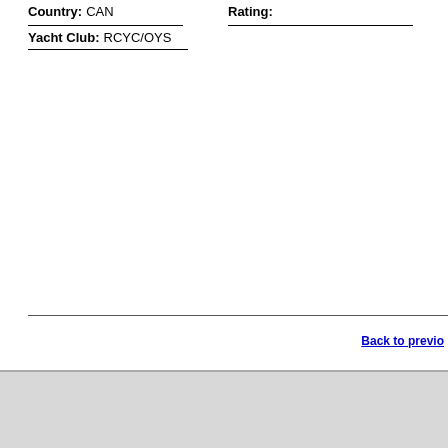Country: CAN    Rating:
Yacht Club: RCYC/OYS
Back to previous
Copyright © North Technology Group LLC 2000-2022
[Figure (other): Google Translate widget with 'Select Language' dropdown]